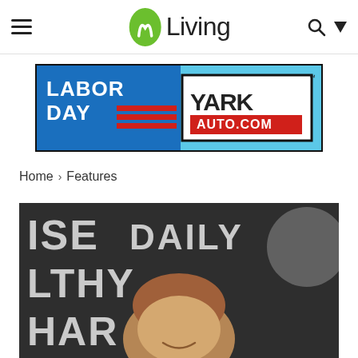M Living — navigation bar with hamburger menu, logo, search and dropdown
[Figure (photo): Labor Day advertisement banner for Yark Auto.com with red and blue design]
Home › Features
[Figure (photo): Young man smiling in front of a dark chalkboard wall with motivational text: EXERCISE DAILY, HEALTHY, HARD]